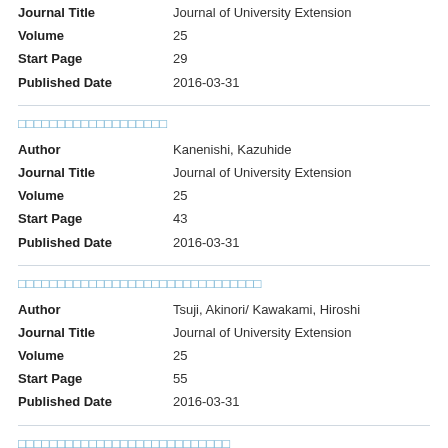| Journal Title | Journal of University Extension |
| Volume | 25 |
| Start Page | 29 |
| Published Date | 2016-03-31 |
□□□□□□□□□□□□□□□□□□□
| Author | Kanenishi, Kazuhide |
| Journal Title | Journal of University Extension |
| Volume | 25 |
| Start Page | 43 |
| Published Date | 2016-03-31 |
□□□□□□□□□□□□□□□□□□□□□□□□□□□□□
| Author | Tsuji, Akinori/ Kawakami, Hiroshi |
| Journal Title | Journal of University Extension |
| Volume | 25 |
| Start Page | 55 |
| Published Date | 2016-03-31 |
□□□□□□□□□□□□□□□□□□□□□□□□□□□